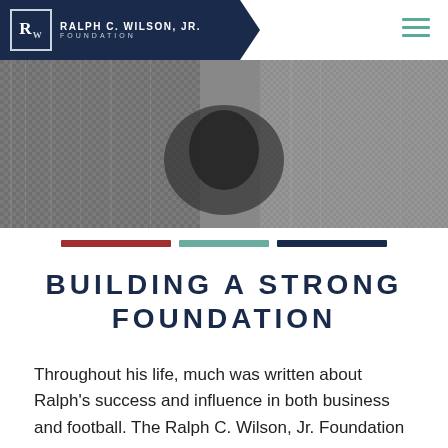[Figure (logo): Ralph C. Wilson, Jr. Foundation logo — navy pentagon shape with RW monogram in a bordered box and text 'RALPH C. WILSON, JR. FOUNDATION']
[Figure (photo): Black and white hero photograph, appears to show fabric or clothing detail, cropped tightly]
[Figure (infographic): Three horizontal colored bars: red, teal, and navy, used as a decorative divider]
BUILDING A STRONG FOUNDATION
Throughout his life, much was written about Ralph's success and influence in both business and football. The Ralph C. Wilson, Jr. Foundation